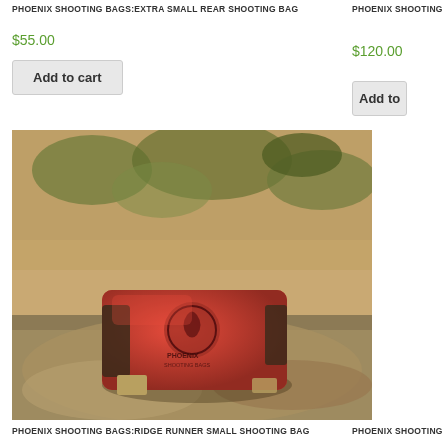PHOENIX SHOOTING BAGS:EXTRA SMALL REAR SHOOTING BAG
$55.00
Add to cart
PHOENIX SHOOTING
$120.00
Add to
[Figure (photo): A red Phoenix Shooting Bags product (small shooting bag) with logo, resting on a rocky surface with blurred natural background]
PHOENIX SHOOTING BAGS:RIDGE RUNNER SMALL SHOOTING BAG
PHOENIX SHOOTING